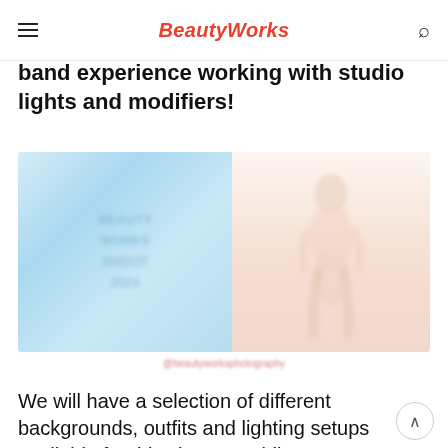BeautyWorks
band experience working with studio lights and modifiers!
[Figure (photo): Blurred promotional image showing a model on the right side against a light pink/peach background, and a light blue panel on the left with blurred text overlay. A blurred social media handle caption appears below the image in pink/salmon color.]
We will have a selection of different backgrounds, outfits and lighting setups available for this shoot, enabling you to get a variety of looks during the day,